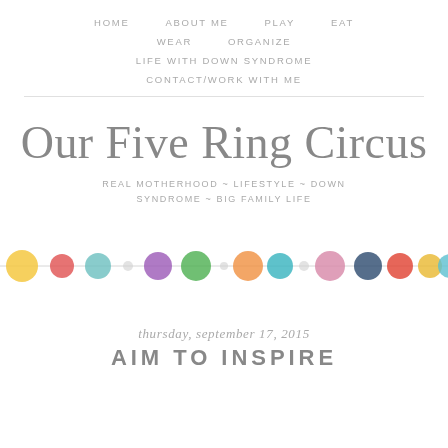HOME   ABOUT ME   PLAY   EAT   WEAR   ORGANIZE   LIFE WITH DOWN SYNDROME   CONTACT/WORK WITH ME
Our Five Ring Circus
REAL MOTHERHOOD ~ LIFESTYLE ~ DOWN SYNDROME ~ BIG FAMILY LIFE
[Figure (illustration): A horizontal row of colorful watercolor circles (dots) in various colors including yellow, red, teal, purple, green, orange, blue, pink, dark blue, red-orange, gold on a white background.]
thursday, september 17, 2015
AIM TO INSPIRE